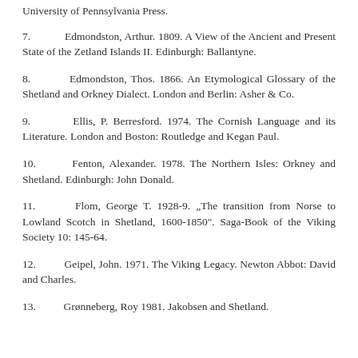University of Pennsylvania Press.
7.    Edmondston, Arthur. 1809. A View of the Ancient and Present State of the Zetland Islands II. Edinburgh: Ballantyne.
8.    Edmondston, Thos. 1866. An Etymological Glossary of the Shetland and Orkney Dialect. London and Berlin: Asher & Co.
9.    Ellis, P. Berresford. 1974. The Cornish Language and its Literature. London and Boston: Routledge and Kegan Paul.
10.    Fenton, Alexander. 1978. The Northern Isles: Orkney and Shetland. Edinburgh: John Donald.
11.    Flom, George T. 1928-9. „The transition from Norse to Lowland Scotch in Shetland, 1600-1850". Saga-Book of the Viking Society 10: 145-64.
12.    Geipel, John. 1971. The Viking Legacy. Newton Abbot: David and Charles.
13.    Grønneberg, Roy 1981. Jakobsen and Shetland.